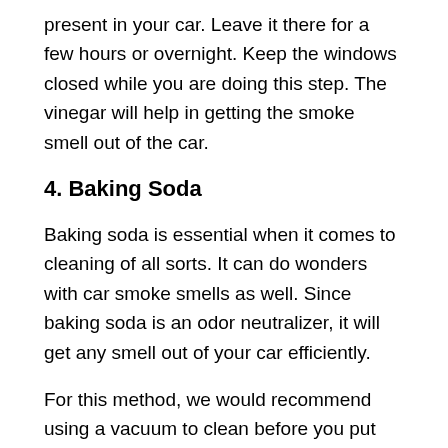present in your car. Leave it there for a few hours or overnight. Keep the windows closed while you are doing this step. The vinegar will help in getting the smoke smell out of the car.
4. Baking Soda
Baking soda is essential when it comes to cleaning of all sorts. It can do wonders with car smoke smells as well. Since baking soda is an odor neutralizer, it will get any smell out of your car efficiently.
For this method, we would recommend using a vacuum to clean before you put the baking soda. If there is ash in the car it will further increase the smell so, try to get it out of the way.